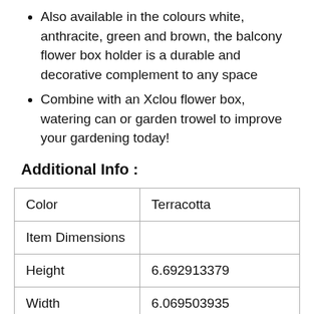Also available in the colours white, anthracite, green and brown, the balcony flower box holder is a durable and decorative complement to any space
Combine with an Xclou flower box, watering can or garden trowel to improve your gardening today!
Additional Info :
| Color | Terracotta |
| Item Dimensions |  |
| Height | 6.692913379 |
| Width | 6.069503935 |